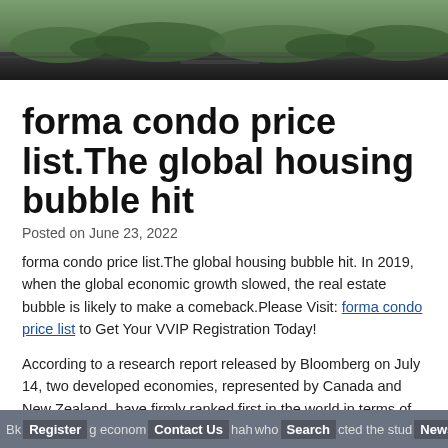[Figure (photo): Aerial or elevated photo of a modern building rooftop or roadway with green landscaping and dark pavement, used as a hero/banner image.]
forma condo price list.The global housing bubble hit
Posted on June 23, 2022
forma condo price list.The global housing bubble hit. In 2019, when the global economic growth slowed, the real estate bubble is likely to make a comeback.Please Visit: forma condo price list to Get Your VVIP Registration Today!
According to a research report released by Bloomberg on July 14, two developed economies, represented by Canada and New Zealand, have firmly ranked first in the world in terms of house price bubbles.
Bk… g eco…nom… Contact Us …hah… who Search…cted t… e stud… News…d